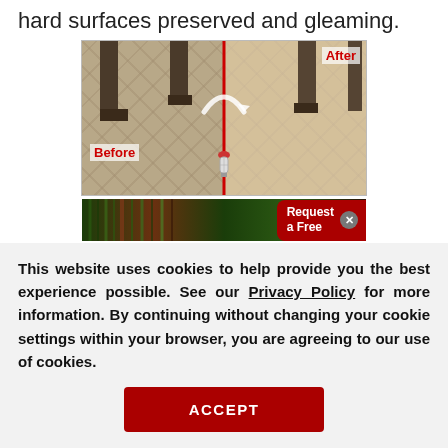hard surfaces preserved and gleaming.
[Figure (photo): Before/after comparison photo of a herringbone tile floor in a lobby with pillars, split by a red vertical line. Left side labeled 'Before', right side labeled 'After'. A rotating arrow icon and small mascot image appear at the center.]
[Figure (photo): Partial strip image of outdoor greenery/garden scene with a 'Request a Free' button overlay in red.]
This website uses cookies to help provide you the best experience possible. See our Privacy Policy for more information. By continuing without changing your cookie settings within your browser, you are agreeing to our use of cookies.
ACCEPT